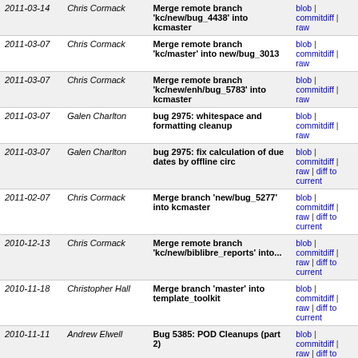| Date | Author | Commit Message | Links |
| --- | --- | --- | --- |
| 2011-03-14 | Chris Cormack | Merge remote branch 'kc/new/bug_4438' into kcmaster | blob | commitdiff | raw |
| 2011-03-07 | Chris Cormack | Merge remote branch 'kc/master' into new/bug_3013 | blob | commitdiff | raw |
| 2011-03-07 | Chris Cormack | Merge remote branch 'kc/new/enh/bug_5783' into kcmaster | blob | commitdiff | raw |
| 2011-03-07 | Galen Charlton | bug 2975: whitespace and formatting cleanup | blob | commitdiff | raw |
| 2011-03-07 | Galen Charlton | bug 2975: fix calculation of due dates by offline circ | blob | commitdiff | raw | diff to current |
| 2011-02-07 | Chris Cormack | Merge branch 'new/bug_5277' into kcmaster | blob | commitdiff | raw | diff to current |
| 2010-12-13 | Chris Cormack | Merge remote branch 'kc/new/biblibre_reports' into... | blob | commitdiff | raw | diff to current |
| 2010-11-18 | Christopher Hall | Merge branch 'master' into template_toolkit | blob | commitdiff | raw | diff to current |
| 2010-11-11 | Andrew Elwell | Bug 5385: POD Cleanups (part 2) | blob | commitdiff | raw | diff to current |
| 2010-11-02 | Chris Cormack | Merge remote branch 'kc/new/for-3.4/enh_bulkmarcimport... | blob | commitdiff | raw | diff to current |
| 2010- | Chris Cormack | Merge remote branch | blob | commitdiff |